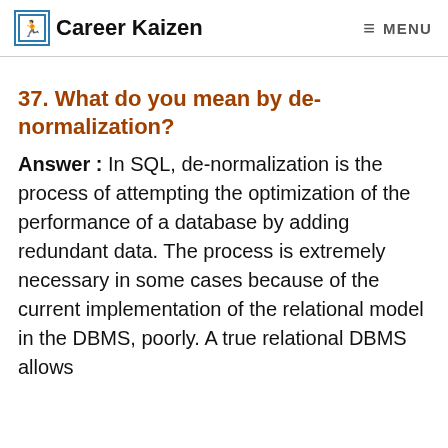Career Kaizen   MENU
37. What do you mean by de-normalization?
Answer : In SQL, de-normalization is the process of attempting the optimization of the performance of a database by adding redundant data. The process is extremely necessary in some cases because of the current implementation of the relational model in the DBMS, poorly. A true relational DBMS allows